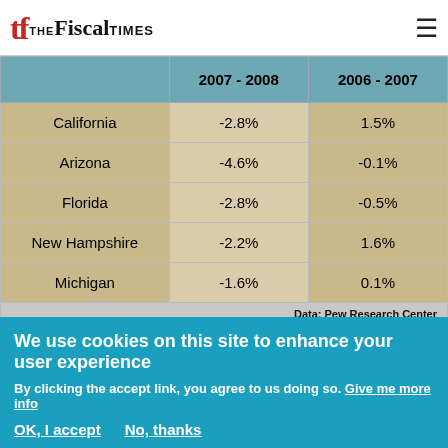The Fiscal Times
|  | 2007 - 2008 | 2006 - 2007 |
| --- | --- | --- |
| California | -2.8% | 1.5% |
| Arizona | -4.6% | -0.1% |
| Florida | -2.8% | -0.5% |
| New Hampshire | -2.2% | 1.6% |
| Michigan | -1.6% | 0.1% |
The reason? A deep recession that causes financial instability and uncertainty can deter people from
We use cookies on this site to enhance your user experience
By clicking the accept link, you agree to us doing so. Give me more info
OK, I accept   No, thanks